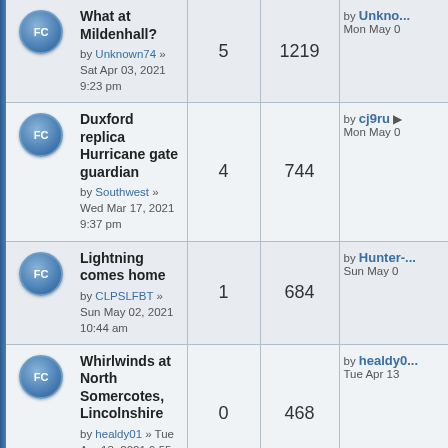What at Mildenhall? by Unknown74 » Sat Apr 03, 2021 9:23 pm | replies: 5 | views: 1219
Duxford replica Hurricane gate guardian by Southwest » Wed Mar 17, 2021 9:37 pm | replies: 4 | views: 744 | last: by cj9ru Mon May 0
Lightning comes home by CLPSLFBT » Sun May 02, 2021 10:44 am | replies: 1 | views: 684 | last: by Hunter- Sun May 0
Whirlwinds at North Somercotes, Lincolnshire by healdy01 » Tue Apr 13, 2021 9:55 am | replies: 0 | views: 468 | last: by healdy0 Tue Apr 13
World War I RFC research by stevep22 » Thu Feb 13, 2014 7:09 pm | replies: 20 | views: 9992 | last: by JCKU Tue Feb 09 | pages: 1 2
RAF Barnham, Norfolk by Knife 04 » Tue Oct 01, 2019 8:57 pm | replies: 4 | views: 1960 | last: by Thunder Wed Jan 1
Low night flying ... replies: 2 | views: 1241 | last: by Vulture